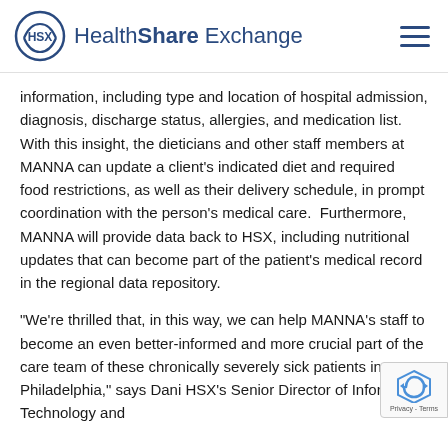HealthShare Exchange
information, including type and location of hospital admission, diagnosis, discharge status, allergies, and medication list.  With this insight, the dieticians and other staff members at MANNA can update a client’s indicated diet and required food restrictions, as well as their delivery schedule, in prompt coordination with the person’s medical care.  Furthermore, MANNA will provide data back to HSX, including nutritional updates that can become part of the patient’s medical record in the regional data repository.
“We’re thrilled that, in this way, we can help MANNA’s staff to become an even better-informed and more crucial part of the care team of these chronically severely sick patients in Philadelphia,” says Dani HSX’s Senior Director of Information Technology and